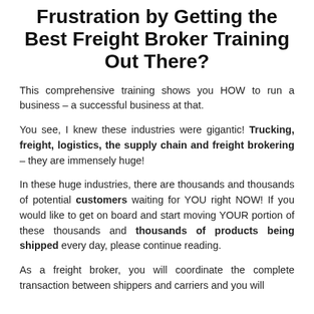Frustration by Getting the Best Freight Broker Training Out There?
This comprehensive training shows you HOW to run a business – a successful business at that.
You see, I knew these industries were gigantic! Trucking, freight, logistics, the supply chain and freight brokering – they are immensely huge!
In these huge industries, there are thousands and thousands of potential customers waiting for YOU right NOW! If you would like to get on board and start moving YOUR portion of these thousands and thousands of products being shipped every day, please continue reading.
As a freight broker, you will coordinate the complete transaction between shippers and carriers and you will